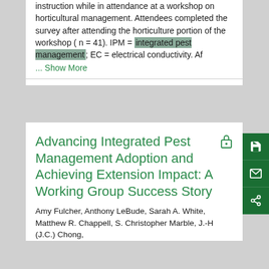instruction while in attendance at a workshop on horticultural management. Attendees completed the survey after attending the horticulture portion of the workshop ( n = 41). IPM = integrated pest management; EC = electrical conductivity. Af
... Show More
Advancing Integrated Pest Management Adoption and Achieving Extension Impact: A Working Group Success Story
Amy Fulcher, Anthony LeBude, Sarah A. White, Matthew R. Chappell, S. Christopher Marble, J.-H (J.C.) Chong,